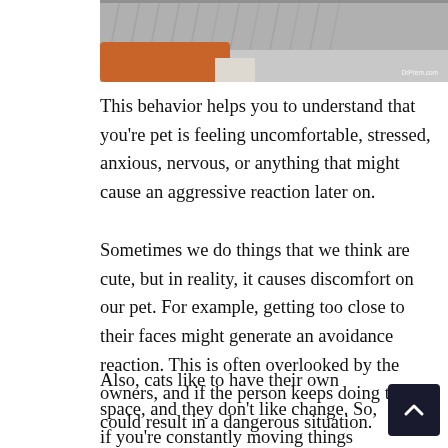[Figure (photo): Partial photo of a cat and a person wearing an orange sweater with white collar, watermarked DrPrem.com]
This behavior helps you to understand that you're pet is feeling uncomfortable, stressed, anxious, nervous, or anything that might cause an aggressive reaction later on.
Sometimes we do things that we think are cute, but in reality, it causes discomfort on our pet. For example, getting too close to their faces might generate an avoidance reaction. This is often overlooked by the owners, and if the person keeps doing this, it could result in a dangerous situation.
Also, cats like to have their own space, and they don't like change. So, if you're constantly moving things around your home or disrupting their personal space, you could be building up stress on your pet without